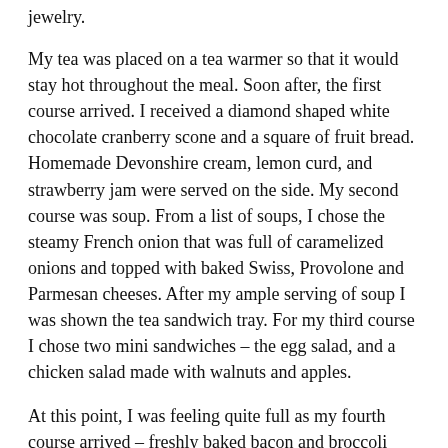jewelry.
My tea was placed on a tea warmer so that it would stay hot throughout the meal. Soon after, the first course arrived. I received a diamond shaped white chocolate cranberry scone and a square of fruit bread. Homemade Devonshire cream, lemon curd, and strawberry jam were served on the side. My second course was soup. From a list of soups, I chose the steamy French onion that was full of caramelized onions and topped with baked Swiss, Provolone and Parmesan cheeses. After my ample serving of soup I was shown the tea sandwich tray. For my third course I chose two mini sandwiches – the egg salad, and a chicken salad made with walnuts and apples.
At this point, I was feeling quite full as my fourth course arrived – freshly baked bacon and broccoli quiche topped with cheddar cheese. I decided to take this home for my supper. Last but not least, there was the pastry tray. I was given a choice of eight to pick from. I selected two mini lemon squares for my fifth course.